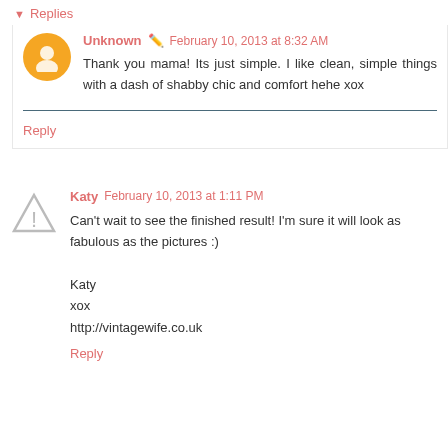Replies
Unknown · February 10, 2013 at 8:32 AM
Thank you mama! Its just simple. I like clean, simple things with a dash of shabby chic and comfort hehe xox
Reply
Katy  February 10, 2013 at 1:11 PM
Can't wait to see the finished result! I'm sure it will look as fabulous as the pictures :)

Katy
xox
http://vintagewife.co.uk
Reply